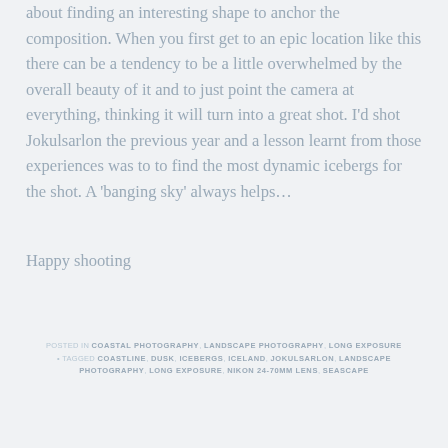about finding an interesting shape to anchor the composition. When you first get to an epic location like this there can be a tendency to be a little overwhelmed by the overall beauty of it and to just point the camera at everything, thinking it will turn into a great shot. I'd shot Jokulsarlon the previous year and a lesson learnt from those experiences was to to find the most dynamic icebergs for the shot. A 'banging sky' always helps…
Happy shooting
POSTED IN COASTAL PHOTOGRAPHY, LANDSCAPE PHOTOGRAPHY, LONG EXPOSURE • TAGGED COASTLINE, DUSK, ICEBERGS, ICELAND, JOKULSARLON, LANDSCAPE PHOTOGRAPHY, LONG EXPOSURE, NIKON 24-70MM LENS, SEASCAPE